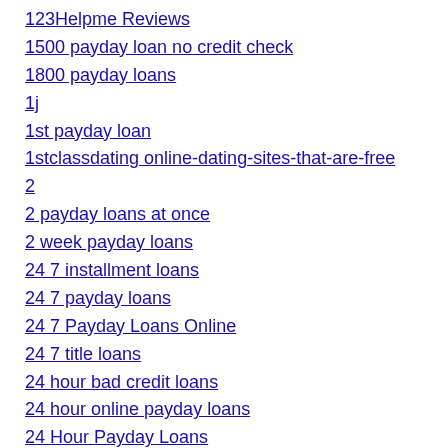123Helpme Reviews
1500 payday loan no credit check
1800 payday loans
1j
1st payday loan
1stclassdating online-dating-sites-that-are-free
2
2 payday loans at once
2 week payday loans
24 7 installment loans
24 7 payday loans
24 7 Payday Loans Online
24 7 title loans
24 hour bad credit loans
24 hour online payday loans
24 Hour Payday Loans
24 hr payday loans
24 pay day loan
24 payday loans